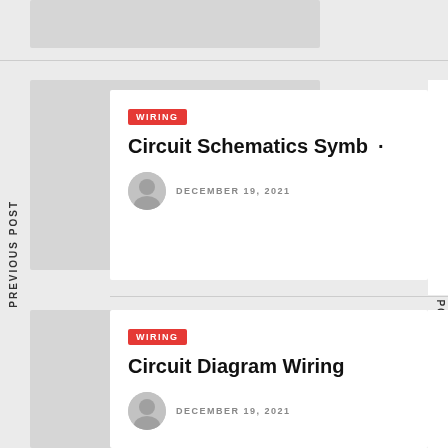[Figure (photo): Gray placeholder image at top of page]
PREVIOUS POST
NEXT POST
WIRING
Circuit Schematics Symb...
DECEMBER 19, 2021
[Figure (photo): Gray placeholder image for first post]
WIRING
Circuit Diagram Wiring
DECEMBER 19, 2021
[Figure (photo): Gray placeholder image for second post]